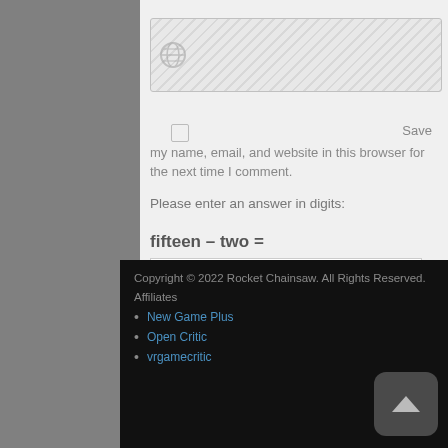[Figure (screenshot): URL/website input field with diagonal hatching pattern and globe icon on the left]
Save my name, email, and website in this browser for the next time I comment.
Please enter an answer in digits:
[Figure (screenshot): POST COMMENT button, dark gray with white uppercase text]
Copyright © 2022 Rocket Chainsaw. All Rights Reserved.
Affiliates
• New Game Plus
• Open Critic
• vrgamecritic